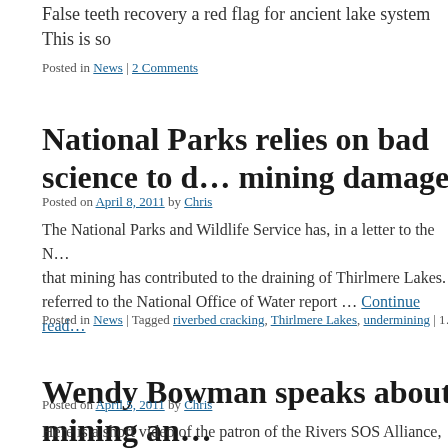False teeth recovery a red flag for ancient lake system This is so…
Posted in News | 2 Comments
National Parks relies on bad science to d… mining damage
Posted on April 8, 2011 by Chris
The National Parks and Wildlife Service has, in a letter to the N… that mining has contributed to the draining of Thirlmere Lakes. referred to the National Office of Water report … Continue read…
Posted in News | Tagged riverbed cracking, Thirlmere Lakes, undermining | 1…
Wendy Bowman speaks about mining an…
Posted on April 5, 2011 by Chris
Here is a short video of the patron of the Rivers SOS Alliance, W… invited to Tamworth to speak to the Friends of Falton grou…